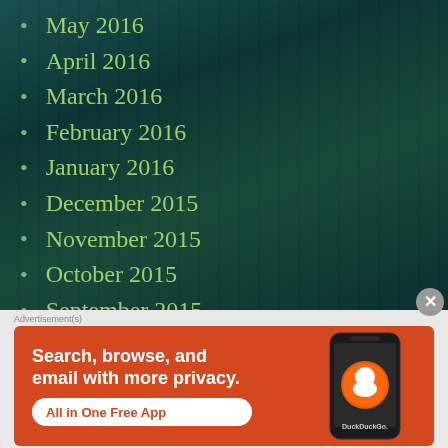May 2016
April 2016
March 2016
February 2016
January 2016
December 2015
November 2015
October 2015
September 2015
August 2015
July 2015
[Figure (screenshot): DuckDuckGo advertisement banner: 'Search, browse, and email with more privacy. All in One Free App' with phone image showing DuckDuckGo app]